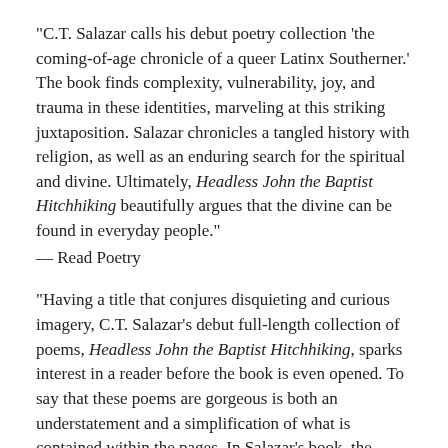"C.T. Salazar calls his debut poetry collection 'the coming-of-age chronicle of a queer Latinx Southerner.' The book finds complexity, vulnerability, joy, and trauma in these identities, marveling at this striking juxtaposition. Salazar chronicles a tangled history with religion, as well as an enduring search for the spiritual and divine. Ultimately, Headless John the Baptist Hitchhiking beautifully argues that the divine can be found in everyday people."
— Read Poetry
"Having a title that conjures disquieting and curious imagery, C.T. Salazar's debut full-length collection of poems, Headless John the Baptist Hitchhiking, sparks interest in a reader before the book is even opened. To say that these poems are gorgeous is both an understatement and a simplification of what is contained within the pages. In Salazar's book, the reader is transported into a world encompassed with juxtaposition – harsh violence and decay against the hope of redemption and a hint of dream-like beauty. . . . Life is often cruel, and in Headless John the Baptist Hitchhiking, Salazar doesn't back away from this, but he gives us small glimpses of the ways life is also gentle. In"